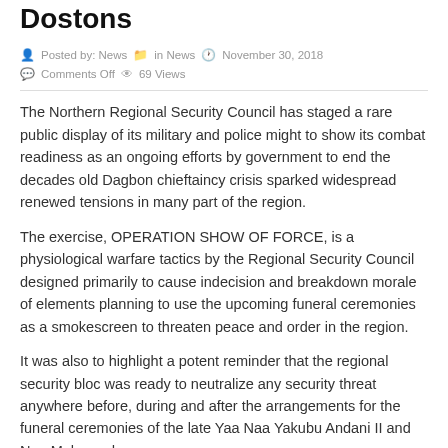Dostons
Posted by: News  in News  November 30, 2018  Comments Off  69 Views
The Northern Regional Security Council has staged a rare public display of its military and police might to show its combat readiness as an ongoing efforts by government to end the decades old Dagbon chieftaincy crisis sparked widespread renewed tensions in many part of the region.
The exercise, OPERATION SHOW OF FORCE, is a physiological warfare tactics by the Regional Security Council designed primarily to cause indecision and breakdown morale of elements planning to use the upcoming funeral ceremonies as a smokescreen to threaten peace and order in the region.
It was also to highlight a potent reminder that the regional security bloc was ready to neutralize any security threat anywhere before, during and after the arrangements for the funeral ceremonies of the late Yaa Naa Yakubu Andani II and Naa Mahamadu